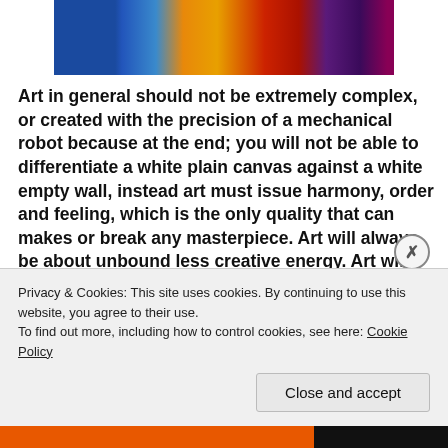[Figure (photo): Colorful clothing items hanging on a rack — bright blue, orange, red, and purple garments visible.]
Art in general should not be extremely complex, or created with the precision of a mechanical robot because at the end; you will not be able to differentiate a white plain canvas against a white empty wall, instead art must issue harmony, order and feeling, which is the only quality that can makes or break any masterpiece. Art will always be about unbound less creative energy. Art will always be imperfect, that's what makes it beautiful. Art isn't something you see, or something you can measure, it's something you need to feel
Privacy & Cookies: This site uses cookies. By continuing to use this website, you agree to their use.
To find out more, including how to control cookies, see here: Cookie Policy
Close and accept